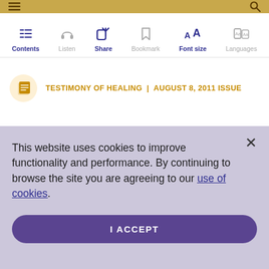[Figure (screenshot): Top navigation bar with golden/tan background showing hamburger menu icon on left and search icon on right]
[Figure (screenshot): Toolbar with icons: Contents (list icon), Listen (headphones icon), Share (share icon, bold/active), Bookmark (bookmark icon), Font size (AA icon, bold/active), Language (language icon). Icons shown in gray and dark blue.]
TESTIMONY OF HEALING | AUGUST 8, 2011 ISSUE
This website uses cookies to improve functionality and performance. By continuing to browse the site you are agreeing to our use of cookies.
I ACCEPT